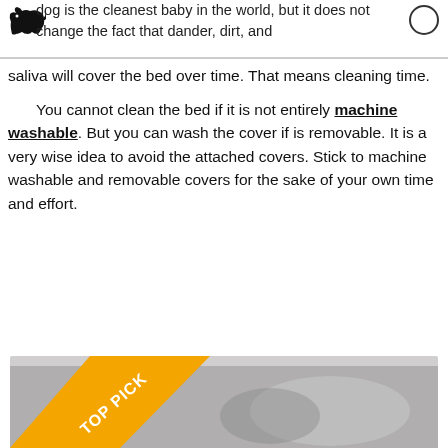dog is the cleanest baby in the world, but it does not change the fact that dander, dirt, and saliva will cover the bed over time. That means cleaning time.
You cannot clean the bed if it is not entirely machine washable. But you can wash the cover if is removable. It is a very wise idea to avoid the attached covers. Stick to machine washable and removable covers for the sake of your own time and effort.
[Figure (photo): Photo of a dog bed with a 'TOP PICK' banner in orange across the corner]